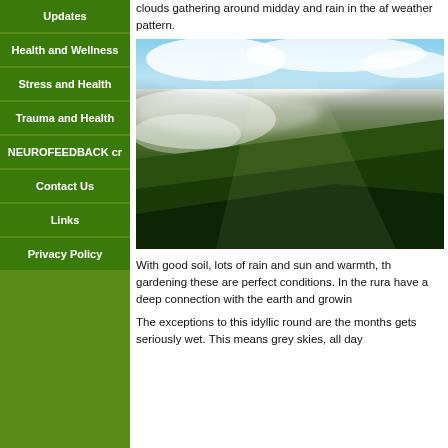Updates
Health and Wellness
Stress and Health
Trauma and Health
NEUROFEEDBACK cr
Contact Us
Links
Privacy Policy
clouds gathering around midday and rain in the af... weather pattern.
[Figure (photo): Misty green mountain hillside with clouds and fog rolling over the forested slopes, bright sky above.]
With good soil, lots of rain and sun and warmth, th... gardening these are perfect conditions. In the rura... have a deep connection with the earth and growin...
The exceptions to this idyllic round are the months... gets seriously wet. This means grey skies, all day...